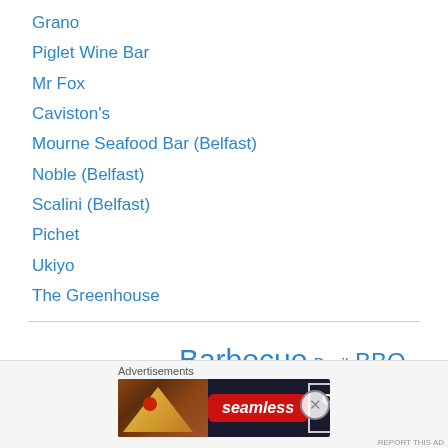Grano
Piglet Wine Bar
Mr Fox
Caviston's
Mourne Seafood Bar (Belfast)
Noble (Belfast)
Scalini (Belfast)
Pichet
Ukiyo
The Greenhouse
Asian Asparagus Bacon Barbecue Basil BBQ Beef Blue cheese Breakfast Broad beans Brunch Capers Carrots Cauliflower Chicken Chickpeas Chilli
[Figure (infographic): Seamless advertisement banner with pizza photo, seamless logo in red badge, and ORDER NOW text in white border box]
Advertisements